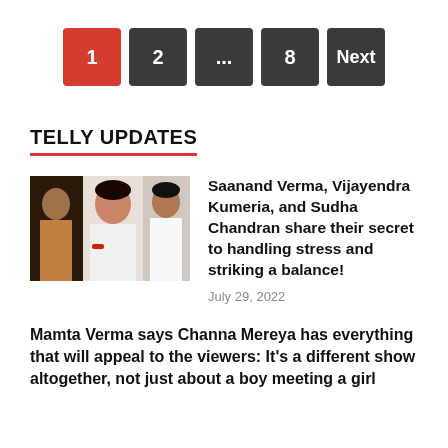[Figure (other): Pagination bar with buttons: 1 (active/red), 2, ..., 8, Next (dark gray)]
TELLY UPDATES
[Figure (photo): Collage of three TV celebrities]
Saanand Verma, Vijayendra Kumeria, and Sudha Chandran share their secret to handling stress and striking a balance!
July 29, 2022
Mamta Verma says Channa Mereya has everything that will appeal to the viewers: It’s a different show altogether, not just about a boy meeting a girl